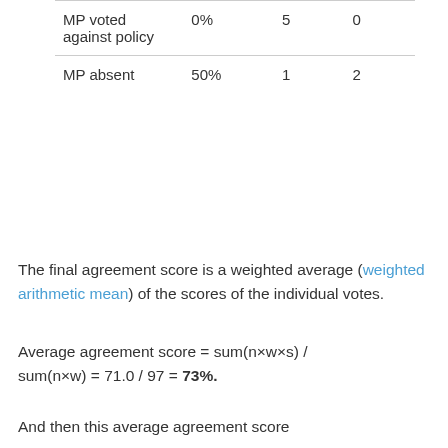|  |  |  |  |
| --- | --- | --- | --- |
| MP voted against policy | 0% | 5 | 0 |
| MP absent | 50% | 1 | 2 |
The final agreement score is a weighted average (weighted arithmetic mean) of the scores of the individual votes.
Average agreement score = sum(n×w×s) / sum(n×w) = 71.0 / 97 = 73%.
And then this average agreement score